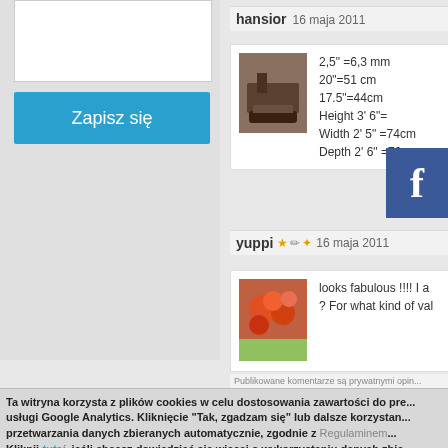[Figure (screenshot): White input box area on left panel]
Zapisz się
hansior  16 maja 2011
[Figure (photo): Small thumbnail avatar image]
2,5" =6,3 mm
20"=51 cm
17.5"=44cm
Height 3' 6"=
Width 2' 5" =74cm
Depth 2' 6" =76cm
[Figure (logo): Facebook blue button with f logo]
yuppi  16 maja 2011
[Figure (photo): Small thumbnail avatar with flowers]
looks fabulous !!!! I a... ? For what kind of va...
Publikowane komentarze są prywatnymi opin...
Ta witryna korzysta z plików cookies w celu dostosowania zawartości do pre... usługi Google Analytics. Kliknięcie "Tak, zgadzam się" lub dalsze korzystan... przetwarzania danych zbieranych automatycznie, zgodnie z Regulaminem...
Kliknij tutaj, jeśli chcesz dowiedzieć się więcej o wykorzystaniu danych zbie...